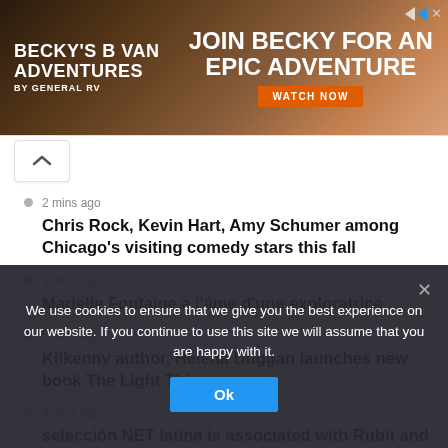[Figure (screenshot): Advertisement banner for Becky's B Van Adventures by General RV — JOIN BECKY FOR AN EPIC ADVENTURE — WATCH NOW button]
2 mins ago
Chris Rock, Kevin Hart, Amy Schumer among Chicago's visiting comedy stars this fall
3 mins ago
Marielle Fontaine a l'âme d'une exploratrice
5 mins ago
Kilkenny author, Helena Duggan launches new book The Light Thieves
6 mins ago
[partially visible] ...
We use cookies to ensure that we give you the best experience on our website. If you continue to use this site we will assume that you are happy with it.